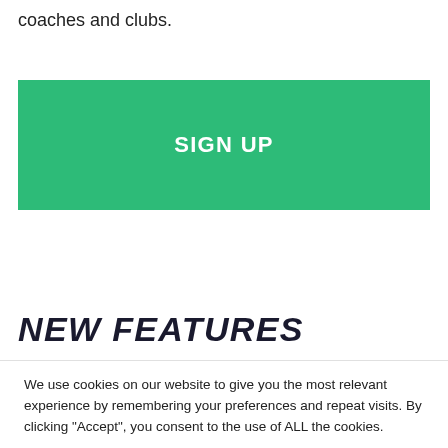coaches and clubs.
[Figure (screenshot): Green SIGN UP button]
NEW FEATURES
We use cookies on our website to give you the most relevant experience by remembering your preferences and repeat visits. By clicking “Accept”, you consent to the use of ALL the cookies.
Cookie settings
ACCEPT